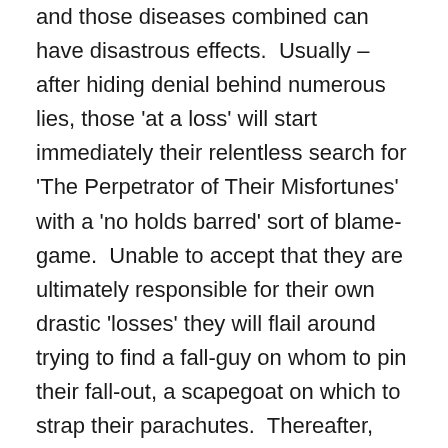and those diseases combined can have disastrous effects.  Usually – after hiding denial behind numerous lies, those 'at a loss' will start immediately their relentless search for 'The Perpetrator of Their Misfortunes' with a 'no holds barred' sort of blame-game.  Unable to accept that they are ultimately responsible for their own drastic 'losses' they will flail around trying to find a fall-guy on whom to pin their fall-out, a scapegoat on which to strap their parachutes.  Thereafter, when their fall-guy flies and their parachutes fail to open, they will descend into a state of chaotic desperation.  In that state, those types are dangerous.  They have sold their souls, i.e. their futures, and will attempt anything in order to restore the balance they imagine they had.  It is best to leave them to it.  Their wasted efforts expose them further and once totally exposed they will know to refrain from bitching and